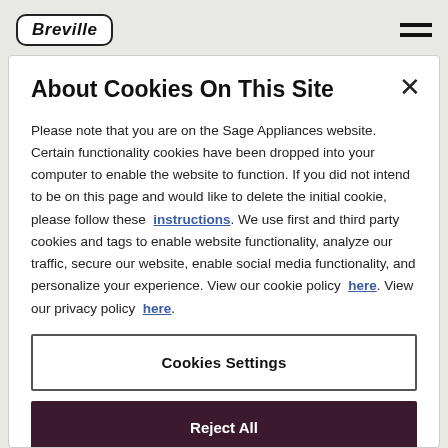[Figure (logo): Breville brand logo in rounded rectangle border with italic bold text]
About Cookies On This Site
Please note that you are on the Sage Appliances website. Certain functionality cookies have been dropped into your computer to enable the website to function. If you did not intend to be on this page and would like to delete the initial cookie, please follow these instructions. We use first and third party cookies and tags to enable website functionality, analyze our traffic, secure our website, enable social media functionality, and personalize your experience. View our cookie policy here. View our privacy policy here.
Cookies Settings
Reject All
Accept All Cookies